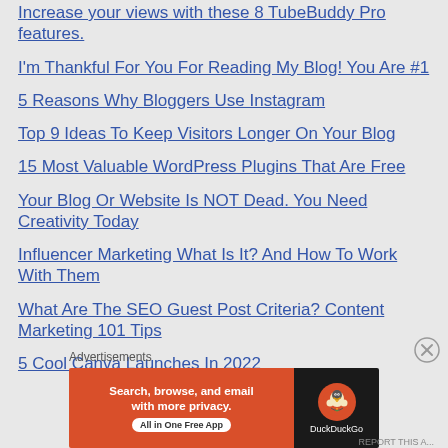Increase your views with these 8 TubeBuddy Pro features.
I'm Thankful For You For Reading My Blog! You Are #1
5 Reasons Why Bloggers Use Instagram
Top 9 Ideas To Keep Visitors Longer On Your Blog
15 Most Valuable WordPress Plugins That Are Free
Your Blog Or Website Is NOT Dead. You Need Creativity Today
Influencer Marketing What Is It? And How To Work With Them
What Are The SEO Guest Post Criteria? Content Marketing 101 Tips
5 Cool Canva Launches In 2022
Advertisements
[Figure (other): DuckDuckGo advertisement banner: Search, browse, and email with more privacy. All in One Free App.]